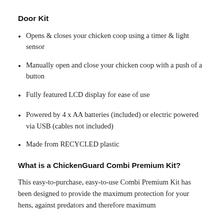Door Kit
Opens & closes your chicken coop using a timer & light sensor
Manually open and close your chicken coop with a push of a button
Fully featured LCD display for ease of use
Powered by 4 x AA batteries (included) or electric powered via USB (cables not included)
Made from RECYCLED plastic
What is a ChickenGuard Combi Premium Kit?
This easy-to-purchase, easy-to-use Combi Premium Kit has been designed to provide the maximum protection for your hens, against predators and therefore maximum